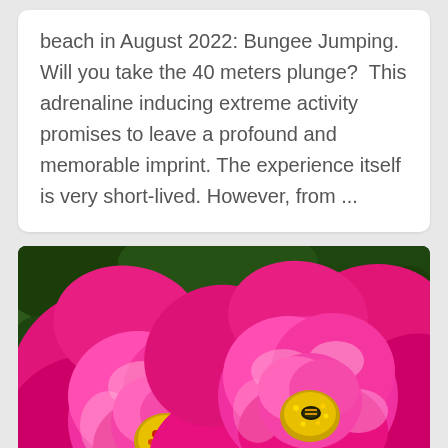beach in August 2022: Bungee Jumping. Will you take the 40 meters plunge? This adrenaline inducing extreme activity promises to leave a profound and memorable imprint. The experience itself is very short-lived. However, from ...
[Figure (photo): Close-up photo of two vibrant hot-pink roses in full bloom. The rose on the left shows yellow and red stamens at its center. The rose on the right has a bee or insect visible at its center among the yellow stamens. Green foliage is visible in the background.]